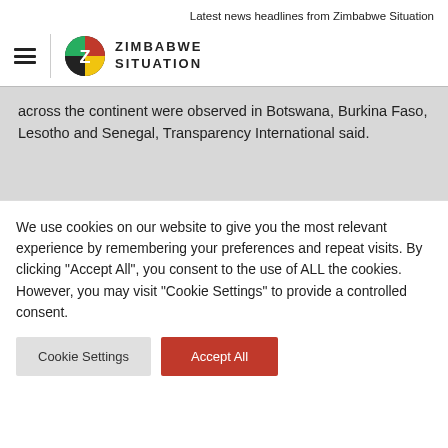Latest news headlines from Zimbabwe Situation
across the continent were observed in Botswana, Burkina Faso, Lesotho and Senegal, Transparency International said.
We use cookies on our website to give you the most relevant experience by remembering your preferences and repeat visits. By clicking "Accept All", you consent to the use of ALL the cookies. However, you may visit "Cookie Settings" to provide a controlled consent.